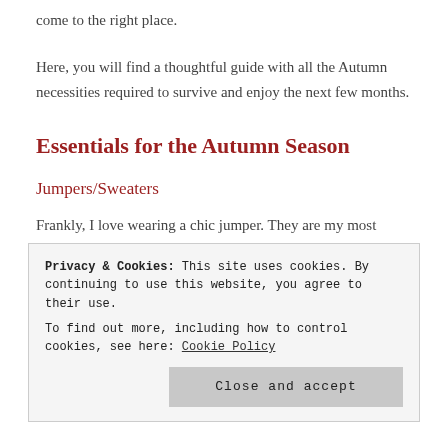come to the right place.
Here, you will find a thoughtful guide with all the Autumn necessities required to survive and enjoy the next few months.
Essentials for the Autumn Season
Jumpers/Sweaters
Frankly, I love wearing a chic jumper. They are my most favourite items of clothing as I love the cosiness and styles of them! As it is starting to get a
Privacy & Cookies: This site uses cookies. By continuing to use this website, you agree to their use.
To find out more, including how to control cookies, see here: Cookie Policy
Close and accept